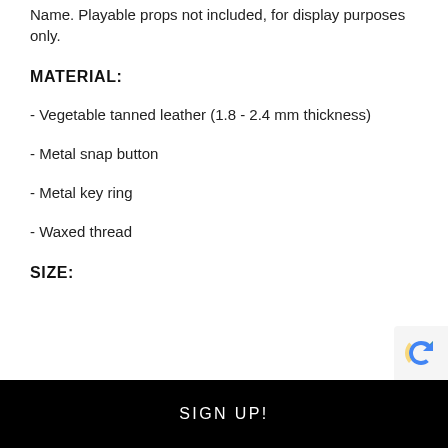Name. Playable props not included, for display purposes only.
MATERIAL:
- Vegetable tanned leather (1.8 - 2.4 mm thickness)
- Metal snap button
- Metal key ring
- Waxed thread
SIZE:
SIGN UP!